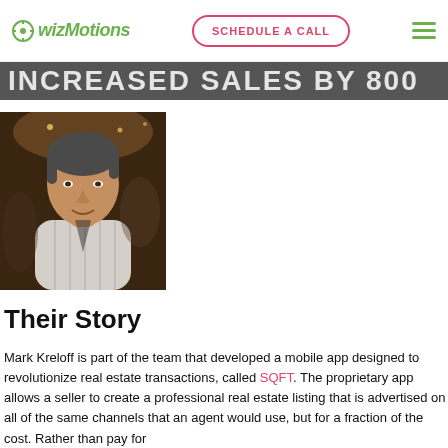wizMotions | SCHEDULE A CALL
INCREASED SALES BY 800
[Figure (photo): Headshot of Mark Kreloff, a man with dark gray hair wearing a white striped shirt, photographed in a dimly lit venue setting]
Their Story
Mark Kreloff is part of the team that developed a mobile app designed to revolutionize real estate transactions, called SQFT. The proprietary app allows a seller to create a professional real estate listing that is advertised on all of the same channels that an agent would use, but for a fraction of the cost. Rather than pay for the agent, the need for a buyer to come to the seller's door.